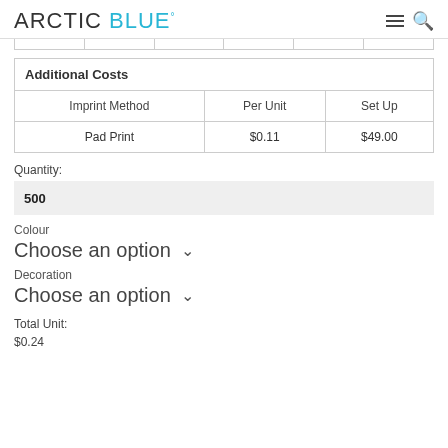ARCTIC BLUE°
| Imprint Method | Per Unit | Set Up |
| --- | --- | --- |
| Pad Print | $0.11 | $49.00 |
Quantity:
500
Colour
Choose an option
Decoration
Choose an option
Total Unit:
$0.24